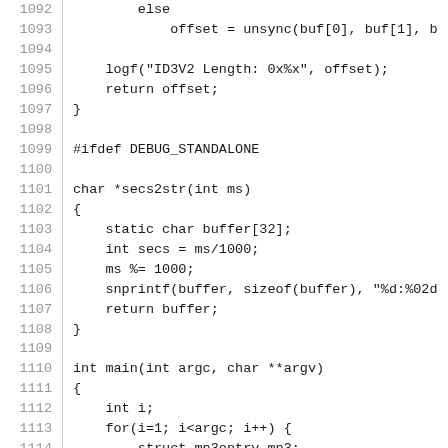Source code listing lines 1092-1121, C programming language